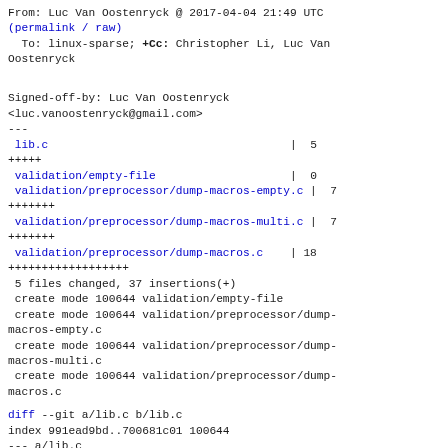From: Luc Van Oostenryck @ 2017-04-04 21:49 UTC
(permalink / raw)
  To: linux-sparse; +Cc: Christopher Li, Luc Van Oostenryck
Signed-off-by: Luc Van Oostenryck
<luc.vanoostenryck@gmail.com>
---
 lib.c                                    |  5
+++++
 validation/empty-file                    |  0
 validation/preprocessor/dump-macros-empty.c |  7
+++++++
 validation/preprocessor/dump-macros-multi.c |  7
+++++++
 validation/preprocessor/dump-macros.c   | 18
++++++++++++++++++
 5 files changed, 37 insertions(+)
 create mode 100644 validation/empty-file
 create mode 100644 validation/preprocessor/dump-macros-empty.c
 create mode 100644 validation/preprocessor/dump-macros-multi.c
 create mode 100644 validation/preprocessor/dump-macros.c
diff --git a/lib.c b/lib.c
index 991ead9bd..700681c01 100644
--- a/lib.c
+++ b/lib.c